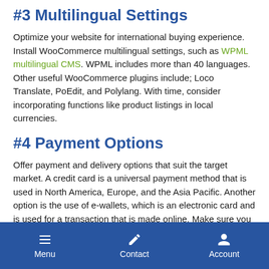#3 Multilingual Settings
Optimize your website for international buying experience. Install WooCommerce multilingual settings, such as WPML multilingual CMS. WPML includes more than 40 languages. Other useful WooCommerce plugins include; Loco Translate, PoEdit, and Polylang. With time, consider incorporating functions like product listings in local currencies.
#4 Payment Options
Offer payment and delivery options that suit the target market. A credit card is a universal payment method that is used in North America, Europe, and the Asia Pacific. Another option is the use of e-wallets, which is an electronic card and is used for a transaction that is made online. Make sure you choose a trustworthy payment option such as PayPal and Venmo.
#5 Language
Menu  Contact  Account